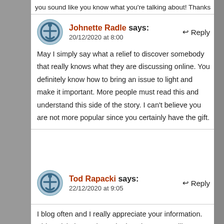you sound like you know what you're talking about!  Thanks
Johnette Radle says:
20/12/2020 at 8:00
May I simply say what a relief to discover somebody that really knows what they are discussing online. You definitely know how to bring an issue to light and make it important. More people must read this and understand this side of the story. I can't believe you are not more popular since you certainly have the gift.
Tod Rapacki says:
22/12/2020 at 9:05
I blog often and I really appreciate your information. This article has truly peaked my interest. I will bookmark your